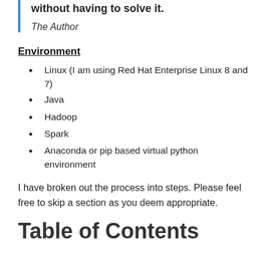without having to solve it.
The Author
Environment
Linux (I am using Red Hat Enterprise Linux 8 and 7)
Java
Hadoop
Spark
Anaconda or pip based virtual python environment
I have broken out the process into steps. Please feel free to skip a section as you deem appropriate.
Table of Contents